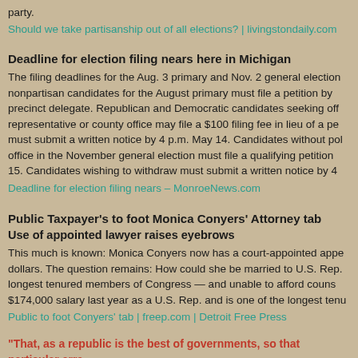party.
Should we take partisanship out of all elections? | livingstondaily.com
Deadline for election filing nears here in Michigan
The filing deadlines for the Aug. 3 primary and Nov. 2 general election nonpartisan candidates for the August primary must file a petition by precinct delegate. Republican and Democratic candidates seeking off representative or county office may file a $100 filing fee in lieu of a p must submit a written notice by 4 p.m. May 14. Candidates without pol office in the November general election must file a qualifying petition 15. Candidates wishing to withdraw must submit a written notice by 4
Deadline for election filing nears – MonroeNews.com
Public Taxpayer's to foot Monica Conyers' Attorney tab
Use of appointed lawyer raises eyebrows
This much is known: Monica Conyers now has a court-appointed app dollars. The question remains: How could she be married to U.S. Rep. longest tenured members of Congress — and unable to afford couns $174,000 salary last year as a U.S. Rep. and is one of the longest tenu
Public to foot Conyers' tab | freep.com | Detroit Free Press
“That, as a republic is the best of governments, so that particular arra